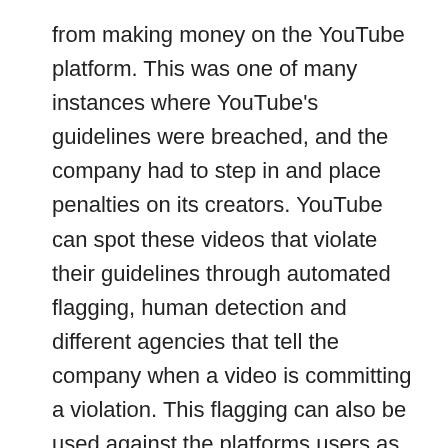from making money on the YouTube platform. This was one of many instances where YouTube's guidelines were breached, and the company had to step in and place penalties on its creators. YouTube can spot these videos that violate their guidelines through automated flagging, human detection and different agencies that tell the company when a video is committing a violation. This flagging can also be used against the platforms users as well. YouTube uses its flagging system to track what is said in the comment section, so users are not completely safe from being removed. As the use of hate speech and profanity is against the content creator guidelines, it is against its user agreement as well. Users can